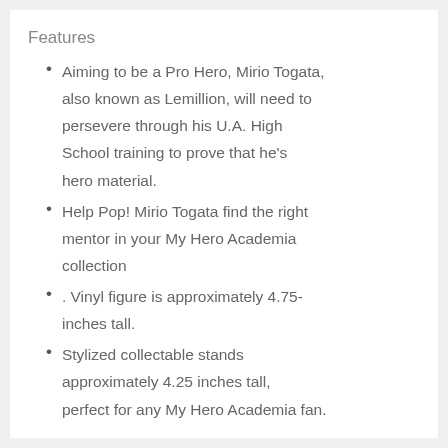Features
Aiming to be a Pro Hero, Mirio Togata, also known as Lemillion, will need to persevere through his U.A. High School training to prove that he's hero material.
Help Pop! Mirio Togata find the right mentor in your My Hero Academia collection
. Vinyl figure is approximately 4.75-inches tall.
Stylized collectable stands approximately 4.25 inches tall, perfect for any My Hero Academia fan.